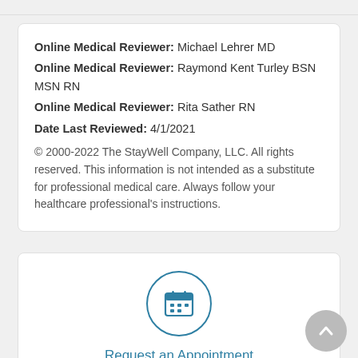Online Medical Reviewer: Michael Lehrer MD
Online Medical Reviewer: Raymond Kent Turley BSN MSN RN
Online Medical Reviewer: Rita Sather RN
Date Last Reviewed: 4/1/2021
© 2000-2022 The StayWell Company, LLC. All rights reserved. This information is not intended as a substitute for professional medical care. Always follow your healthcare professional's instructions.
[Figure (illustration): Calendar icon inside a teal circle border representing scheduling an appointment]
Request an Appointment